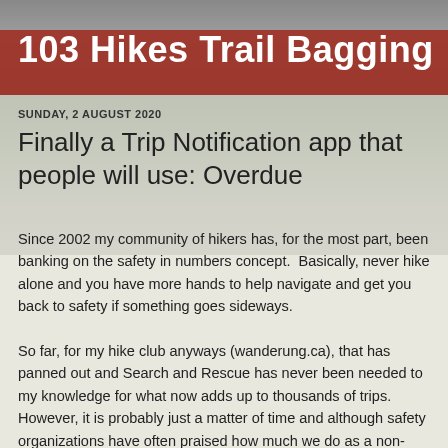103 Hikes Trail Bagging
SUNDAY, 2 AUGUST 2020
Finally a Trip Notification app that people will use: Overdue
Since 2002 my community of hikers has, for the most part, been banking on the safety in numbers concept.  Basically, never hike alone and you have more hands to help navigate and get you back to safety if something goes sideways.
So far, for my hike club anyways (wanderung.ca), that has panned out and Search and Rescue has never been needed to my knowledge for what now adds up to thousands of trips. However, it is probably just a matter of time and although safety organizations have often praised how much we do as a non-profit to broadcast educational messaging to novice hikers, no one can safely forecast that with being in the...